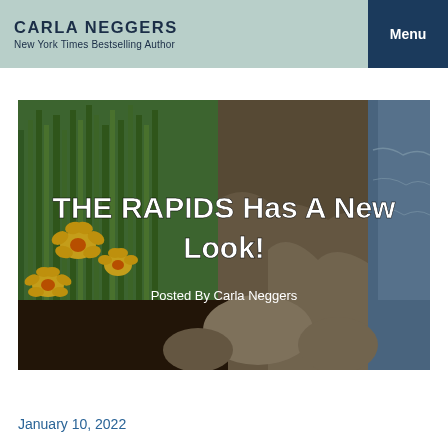CARLA NEGGERS
New York Times Bestselling Author
[Figure (photo): Hero image of yellow daffodils on the left side and rocks with a waterfall/stream on the right side, with white text overlay reading 'THE RAPIDS Has A New Look!' and 'Posted By Carla Neggers']
January 10, 2022